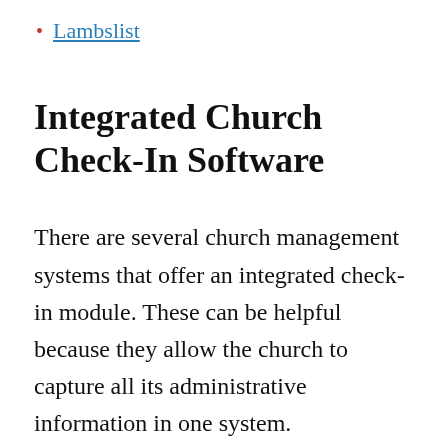Lambslist
Integrated Church Check-In Software
There are several church management systems that offer an integrated check-in module. These can be helpful because they allow the church to capture all its administrative information in one system.
Churches can...